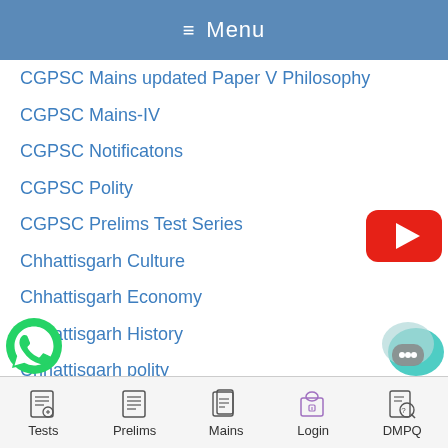≡ Menu
CGPSC Mains updated Paper V Philosophy
CGPSC Mains-IV
CGPSC Notificatons
CGPSC Polity
CGPSC Prelims Test Series
Chhattisgarh Culture
Chhattisgarh Economy
Chhattisgarh History
Chhattisgarh polity
Chhattisgarh Sarkari Naukri
Chatttisgarh Geography
[Figure (logo): YouTube play button icon (red rounded rectangle with white triangle)]
[Figure (logo): WhatsApp green circle logo with phone icon]
[Figure (logo): Chat bubble with ellipsis on teal/green background]
Tests  Prelims  Mains  Login  DMPQ